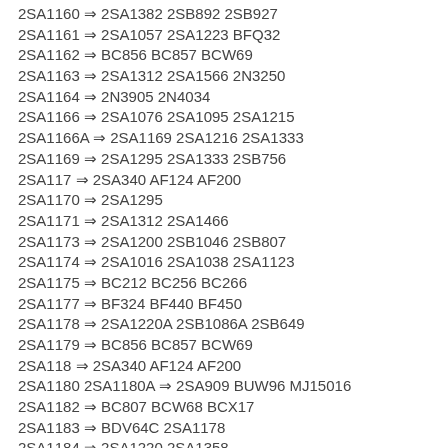2SA1160 ⇒ 2SA1382 2SB892 2SB927
2SA1161 ⇒ 2SA1057 2SA1223 BFQ32
2SA1162 ⇒ BC856 BC857 BCW69
2SA1163 ⇒ 2SA1312 2SA1566 2N3250
2SA1164 ⇒ 2N3905 2N4034
2SA1166 ⇒ 2SA1076 2SA1095 2SA1215
2SA1166A ⇒ 2SA1169 2SA1216 2SA1333
2SA1169 ⇒ 2SA1295 2SA1333 2SB756
2SA117 ⇒ 2SA340 AF124 AF200
2SA1170 ⇒ 2SA1295
2SA1171 ⇒ 2SA1312 2SA1466
2SA1173 ⇒ 2SA1200 2SB1046 2SB807
2SA1174 ⇒ 2SA1016 2SA1038 2SA1123
2SA1175 ⇒ BC212 BC256 BC266
2SA1177 ⇒ BF324 BF440 BF450
2SA1178 ⇒ 2SA1220A 2SB1086A 2SB649
2SA1179 ⇒ BC856 BC857 BCW69
2SA118 ⇒ 2SA340 AF124 AF200
2SA1180 2SA1180A ⇒ 2SA909 BUW96 MJ15016
2SA1182 ⇒ BC807 BCW68 BCX17
2SA1183 ⇒ BDV64C 2SA1178
2SA1184 ⇒ 2SA1220 2SA1358
2SA1187 ⇒ 2SA1141 2SA1143 2SA1190